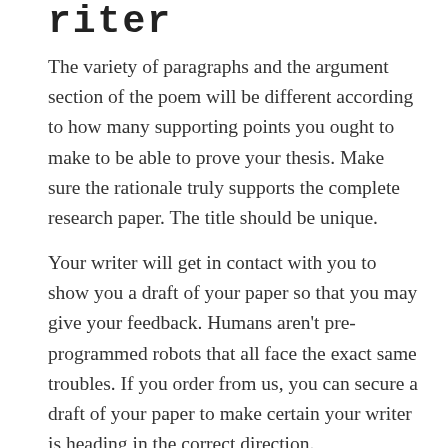riter
The variety of paragraphs and the argument section of the poem will be different according to how many supporting points you ought to make to be able to prove your thesis. Make sure the rationale truly supports the complete research paper. The title should be unique.
Your writer will get in contact with you to show you a draft of your paper so that you may give your feedback. Humans aren't pre-programmed robots that all face the exact same troubles. If you order from us, you can secure a draft of your paper to make certain your writer is heading in the correct direction.